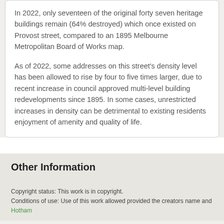In 2022, only seventeen of the original forty seven heritage buildings remain (64% destroyed) which once existed on Provost street, compared to an 1895 Melbourne Metropolitan Board of Works map.
As of 2022, some addresses on this street's density level has been allowed to rise by four to five times larger, due to recent increase in council approved multi-level building redevelopments since 1895. In some cases, unrestricted increases in density can be detrimental to existing residents enjoyment of amenity and quality of life.
Other Information
Copyright status: This work is in copyright.
Conditions of use: Use of this work allowed provided the creators name and Hotham